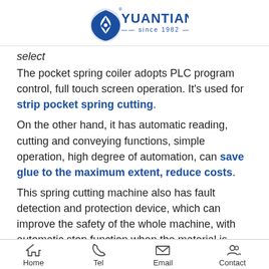YUANTIAN since 1982
select
The pocket spring coiler adopts PLC program control, full touch screen operation. It's used for strip pocket spring cutting.
On the other hand, it has automatic reading, cutting and conveying functions, simple operation, high degree of automation, can save glue to the maximum extent, reduce costs.
This spring cutting machine also has fault detection and protection device, which can improve the safety of the whole machine, with automatic stop function when the material is used up.
Home  Tel  Email  Contact